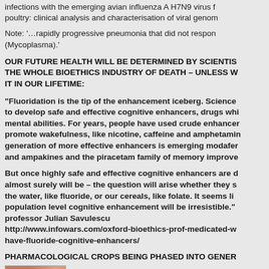infections with the emerging avian influenza A H7N9 virus from poultry: clinical analysis and characterisation of viral genom
Note: '…rapidly progressive pneumonia that did not respond to (Mycoplasma).'
OUR FUTURE HEALTH WILL BE DETERMINED BY SCIENTISTS AND THE WHOLE BIOETHICS INDUSTRY OF DEATH – UNLESS WE STOP IT IN OUR LIFETIME:
“Fluoridation is the tip of the enhancement iceberg. Scientists are working to develop safe and effective cognitive enhancers, drugs which improve mental abilities. For years, people have used crude enhancers to promote wakefulness, like nicotine, caffeine and amphetamines. A new generation of more effective enhancers is emerging modafenil, ritalin and ampakines and the piracetam family of memory improvers
But once highly safe and effective cognitive enhancers are developed, as almost surely will be – the question will arise whether they should go in the water, like fluoride, or our cereals, like folate. It seems likely that population level cognitive enhancement will be irresistible." professor Julian Savulescu
http://www.infowars.com/oxford-bioethics-prof-medicated-water-should-have-fluoride-cognitive-enhancers/
PHARMACOLOGICAL CROPS BEING PHASED INTO GENERAL
[Figure (photo): Partial photo thumbnail showing reddish-brown subject, with caption text 'Australian scientists are developin...']